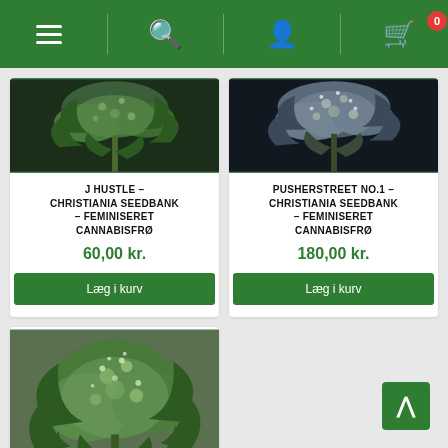[Figure (screenshot): E-commerce website navigation bar with hamburger menu, search icon, user icon, and shopping cart icon with badge showing 0]
[Figure (photo): Cannabis flower plant photo for J Hustle product]
J HUSTLE - CHRISTIANIA SEEDBANK - FEMINISERET CANNABISFRØ
60,00 kr.
Læg i kurv
[Figure (photo): Cannabis flower plant photo for Pusherstreet No.1 product]
PUSHERSTREET NO.1 - CHRISTIANIA SEEDBANK - FEMINISERET CANNABISFRØ
180,00 kr.
Læg i kurv
[Figure (photo): Cannabis flower plant photo for third product (partially visible)]